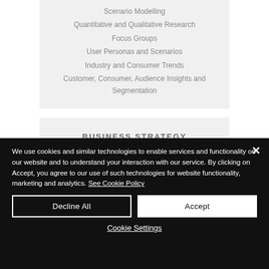Scenario Modelling
Quantitative and Qualitative Research
Focus Groups
User Personas and Scenarios
Industry and Consumer Trends
Customer, Consumer, Audience Insights and Segmentation
BUSINESS STRATEGY
We use cookies and similar technologies to enable services and functionality on our website and to understand your interaction with our service. By clicking on Accept, you agree to our use of such technologies for website functionality, marketing and analytics. See Cookie Policy
Decline All
Accept
Cookie Settings